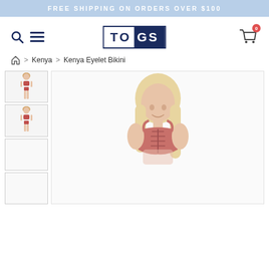FREE SHIPPING ON ORDERS OVER $100
[Figure (logo): TOGS brand logo with navy blue background on GS portion and white background on TO portion, bordered rectangle]
[Figure (screenshot): Navigation icons: search magnifying glass icon and hamburger menu icon on the left, shopping cart icon with badge showing 0 on the right]
🏠 > Kenya > Kenya Eyelet Bikini
[Figure (photo): Thumbnail 1: Full body photo of woman in red/coral bikini set]
[Figure (photo): Thumbnail 2: Three-quarter body photo of woman in red/coral bikini set]
[Figure (photo): Thumbnail 3: Empty thumbnail placeholder]
[Figure (photo): Thumbnail 4: Empty thumbnail placeholder]
[Figure (photo): Main product image: Woman with blonde hair wearing coral/dusty rose bikini top with lace-up front detail, cropped view showing upper body]